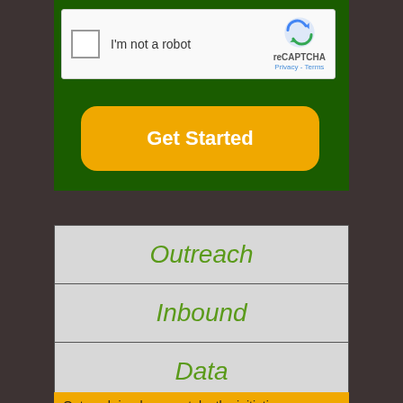[Figure (screenshot): reCAPTCHA widget with checkbox labeled 'I'm not a robot' and reCAPTCHA logo on a light gray background]
[Figure (screenshot): Yellow/gold rounded button labeled 'Get Started' on dark green background]
| Outreach |
| Inbound |
| Data |
Outreach is when you take the initiative